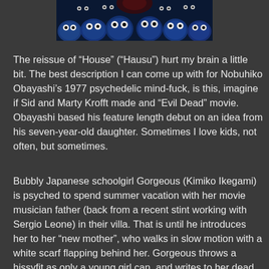[Figure (photo): Still from the movie House (Hausu) showing blue-tinted ghostly cat faces with glowing eyes peering out from darkness]
The reissue of “House” (“Hausu”) hurt my brain a little bit. The best description I can come up with for Nobuhiko Obayashi’s 1977 psychedelic mind-fuck, is this, imagine if Sid and Marty Krofft made and “Evil Dead” movie. Obayashi based his feature length debut on an idea from his seven-year-old daughter. Sometimes I love kids, not often, but sometimes.
Bubbly Japanese schoolgirl Gorgeous (Kimiko Ikegami) is psyched to spend summer vacation with her movie musician father (back from a recent stint working with Sergio Leone) in their villa. That is until he introduces her to her “new mother”, who walks in slow motion with a white scarf flapping behind her. Gorgeous throws a hissyfit as only a young girl can, and writes to her dead mother’s sister, who she hasn’t seen in a decade, asking if she can come visit her mansion. So Gorgeous and her six bestest friends in the whole wide world, Fantasy (Kumiko Obha), Prof (Ai Matsubara), Mac (Meiko Satoh), Kung-fu (Miki Jinbo), Melody (Eriko Tanaka)